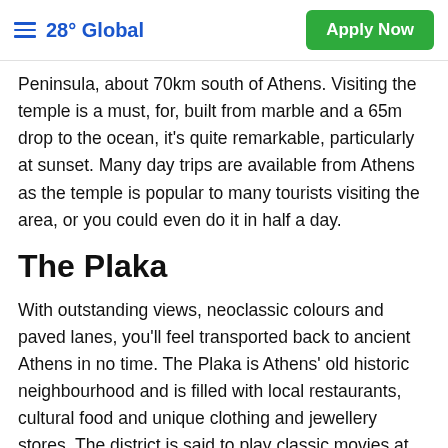28° Global  Apply Now
Peninsula, about 70km south of Athens. Visiting the temple is a must, for, built from marble and a 65m drop to the ocean, it's quite remarkable, particularly at sunset. Many day trips are available from Athens as the temple is popular to many tourists visiting the area, or you could even do it in half a day.
The Plaka
With outstanding views, neoclassic colours and paved lanes, you'll feel transported back to ancient Athens in no time. The Plaka is Athens' old historic neighbourhood and is filled with local restaurants, cultural food and unique clothing and jewellery stores. The district is said to play classic movies at Cine Paris and, coupled with neoclassical houses, you can become immersed in the culture. Stretching out from Acropolis to almost Syntagma, this